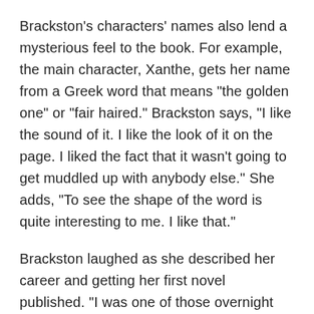Brackston's characters' names also lend a mysterious feel to the book. For example, the main character, Xanthe, gets her name from a Greek word that means "the golden one" or "fair haired." Brackston says, "I like the sound of it. I like the look of it on the page. I liked the fact that it wasn't going to get muddled up with anybody else." She adds, "To see the shape of the word is quite interesting to me. I like that."
Brackston laughed as she described her career and getting her first novel published. "I was one of those overnight successes that takes about 10 years." "The Witch's Daughter" was first picked up by a small British publisher and then discovered by Peter Wolverton, an editor at Thomas Dunne at St....